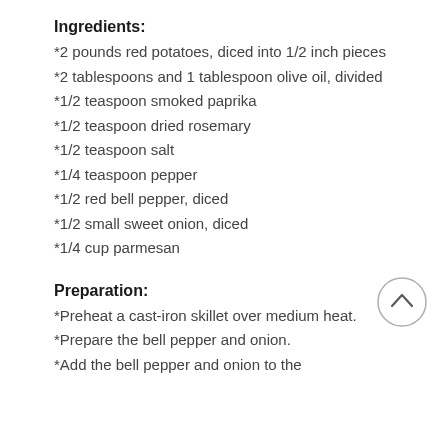Ingredients:
*2 pounds red potatoes, diced into 1/2 inch pieces
*2 tablespoons and 1 tablespoon olive oil, divided
*1/2 teaspoon smoked paprika
*1/2 teaspoon dried rosemary
*1/2 teaspoon salt
*1/4 teaspoon pepper
*1/2 red bell pepper, diced
*1/2 small sweet onion, diced
*1/4 cup parmesan
Preparation:
*Preheat a cast-iron skillet over medium heat.
*Prepare the bell pepper and onion.
*Add the bell pepper and onion to the